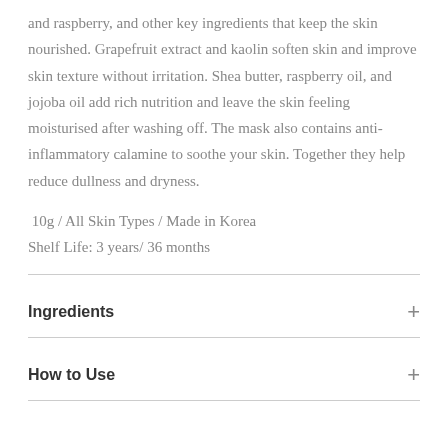and raspberry, and other key ingredients that keep the skin nourished. Grapefruit extract and kaolin soften skin and improve skin texture without irritation. Shea butter, raspberry oil, and jojoba oil add rich nutrition and leave the skin feeling moisturised after washing off. The mask also contains anti-inflammatory calamine to soothe your skin. Together they help reduce dullness and dryness.
10g / All Skin Types / Made in Korea
Shelf Life: 3 years/ 36 months
Ingredients
How to Use